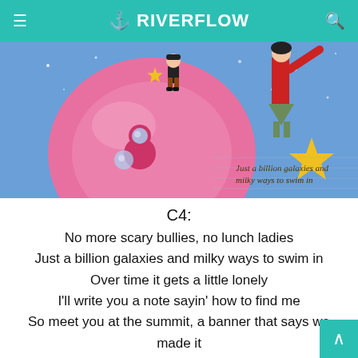RIVERFLOW
[Figure (illustration): Colorful illustrated scene showing cartoon characters in a space/cosmic setting with a pink planet, stars, and figures. Text overlaid reads 'Just a billion galaxies and milky ways to swim in']
C4:
No more scary bullies, no lunch ladies
Just a billion galaxies and milky ways to swim in
Over time it gets a little lonely
I'll write you a note sayin' how to find me
So meet you at the summit, a banner that says we made it